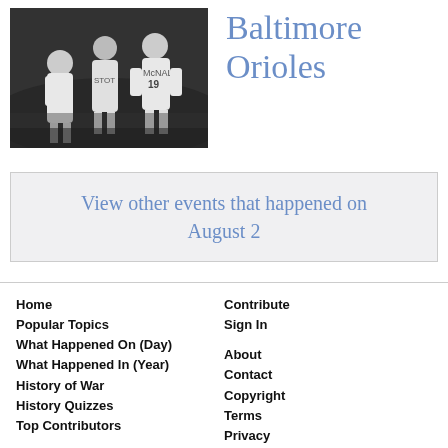[Figure (photo): Black and white photograph of Baltimore Orioles baseball players celebrating on the field, with player #19 McNally visible.]
Baltimore Orioles
View other events that happened on August 2
Home
Popular Topics
What Happened On (Day)
What Happened In (Year)
History of War
History Quizzes
Top Contributors
Contribute
Sign In
About
Contact
Copyright
Terms
Privacy